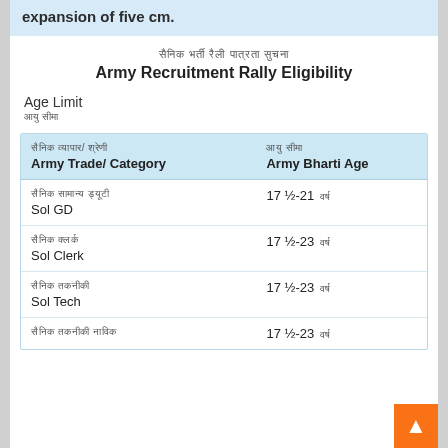expansion of five cm.
Army Recruitment Rally Eligibility
Age Limit
| Army Trade/ Category | Army Bharti Age |
| --- | --- |
| Sol GD | 17 ½-21 |
| Sol Clerk | 17 ½-23 |
| Sol Tech | 17 ½-23 |
| (last row partial) | 17 ½-23 |